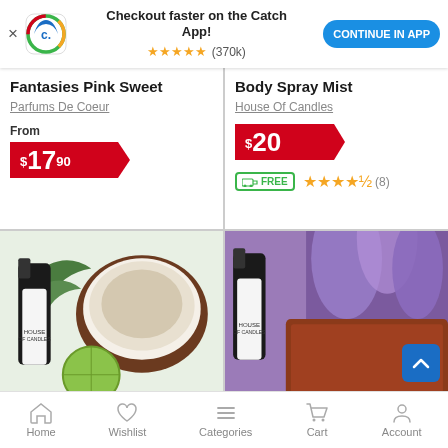[Figure (screenshot): App promotion banner with Catch.com.au logo, 'Checkout faster on the Catch App!' text, 5-star rating (370k reviews), and 'CONTINUE IN APP' blue button]
Fantasies Pink Sweet
Parfums De Coeur
From
$17.90
Body Spray Mist
House Of Candles
$20
FREE shipping, 4.5 stars (8 reviews)
[Figure (photo): Body spray bottle with coconut and lime]
[Figure (photo): Body spray bottle with lavender and sandalwood]
Home  Wishlist  Categories  Cart  Account